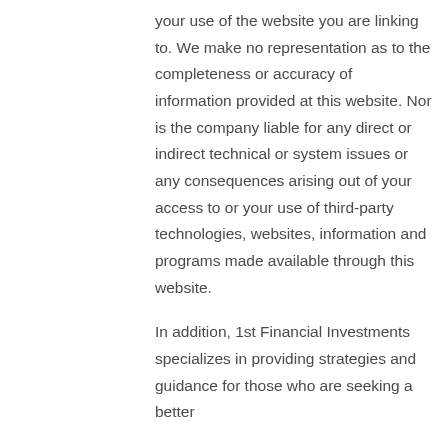your use of the website you are linking to. We make no representation as to the completeness or accuracy of information provided at this website. Nor is the company liable for any direct or indirect technical or system issues or any consequences arising out of your access to or your use of third-party technologies, websites, information and programs made available through this website.

In addition, 1st Financial Investments specializes in providing strategies and guidance for those who are seeking a better